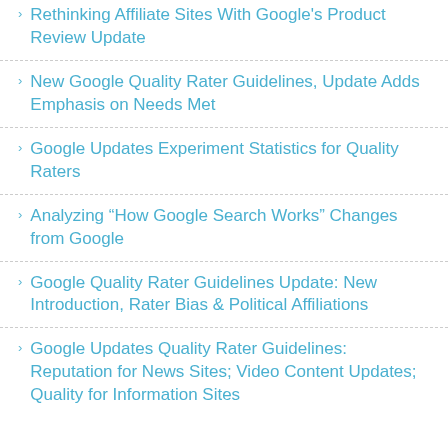Rethinking Affiliate Sites With Google's Product Review Update
New Google Quality Rater Guidelines, Update Adds Emphasis on Needs Met
Google Updates Experiment Statistics for Quality Raters
Analyzing “How Google Search Works” Changes from Google
Google Quality Rater Guidelines Update: New Introduction, Rater Bias & Political Affiliations
Google Updates Quality Rater Guidelines: Reputation for News Sites; Video Content Updates; Quality for Information Sites